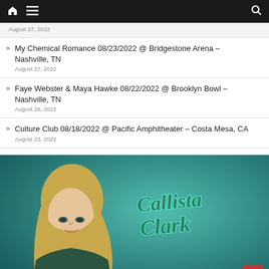Navigation bar with home, menu, and search icons
August 27, 2022
My Chemical Romance 08/23/2022 @ Bridgestone Arena – Nashville, TN
August 27, 2022
Faye Webster & Maya Hawke 08/22/2022 @ Brooklyn Bowl – Nashville, TN
August 26, 2022
Culture Club 08/18/2022 @ Pacific Amphitheater – Costa Mesa, CA
August 23, 2022
[Figure (photo): Promotional image of Callista Clark, a blonde woman, with her name in cursive teal lettering on a teal background]